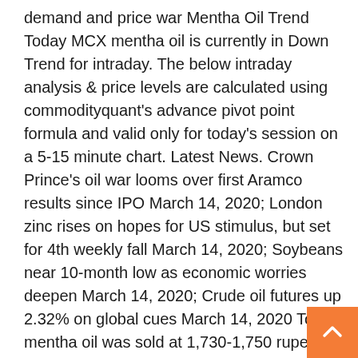demand and price war Mentha Oil Trend Today MCX mentha oil is currently in Down Trend for intraday. The below intraday analysis & price levels are calculated using commodityquant's advance pivot point formula and valid only for today's session on a 5-15 minute chart. Latest News. Crown Prince's oil war looms over first Aramco results since IPO March 14, 2020; London zinc rises on hopes for US stimulus, but set for 4th weekly fall March 14, 2020; Soybeans near 10-month low as economic worries deepen March 14, 2020; Crude oil futures up 2.32% on global cues March 14, 2020 Today, mentha oil was sold at 1,730-1,750 rupees per kg in the markets of Chandausi, while on MCX, the most-active February contract was at 1,667 rupees. Mentha oil is obtained by steam distillation of mentha arvensis leaves, popularly known as pudina in India. On the MCX, the mentha oil price is down -5.21% to Rs 1700.00. The total volume of shares traded is 230761.00. Over the last one week mcx mentha oil price change is about -2.17%. Over the last 30 days, the price change is about -4.98%. Mentha oil rate today Mentha oil future price up 0.93% to Rs 1,640.10 per kg. The price